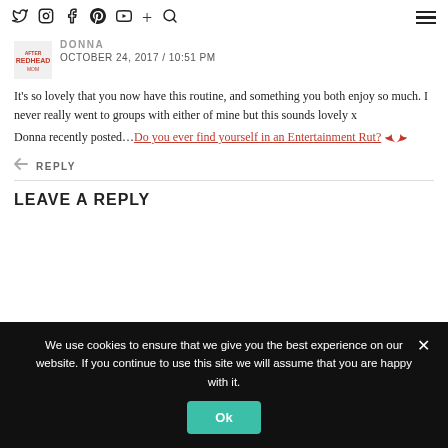Social nav icons: Twitter, Instagram, Facebook, Pinterest, YouTube, Plus, Search | Hamburger menu
DONNA
OCTOBER 24, 2017 / 10:51 PM
It's so lovely that you now have this routine, and something you both enjoy so much. I never really went to groups with either of mine but this sounds lovely x
Donna recently posted….Do you ever find yourself in an Entertainment Rut?
↩ REPLY
LEAVE A REPLY
We use cookies to ensure that we give you the best experience on our website. If you continue to use this site we will assume that you are happy with it.
Ok